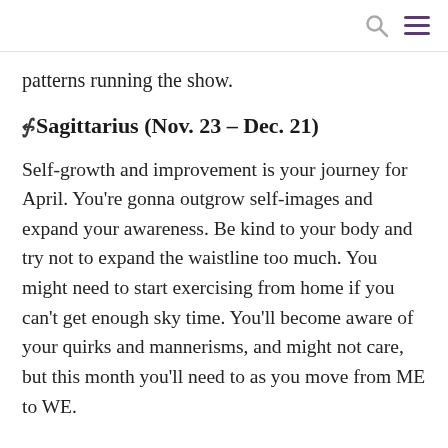[search icon] [menu icon]
patterns running the show.
♐Sagittarius (Nov. 23 – Dec. 21)
Self-growth and improvement is your journey for April. You're gonna outgrow self-images and expand your awareness. Be kind to your body and try not to expand the waistline too much. You might need to start exercising from home if you can't get enough sky time. You'll become aware of your quirks and mannerisms, and might not care, but this month you'll need to as you move from ME to WE.